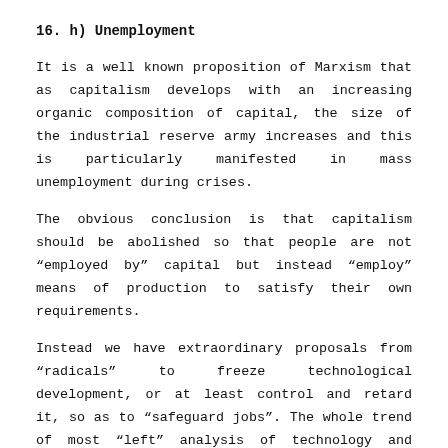16. h) Unemployment
It is a well known proposition of Marxism that as capitalism develops with an increasing organic composition of capital, the size of the industrial reserve army increases and this is particularly manifested in mass unemployment during crises.
The obvious conclusion is that capitalism should be abolished so that people are not “employed by” capital but instead “employ” means of production to satisfy their own requirements.
Instead we have extraordinary proposals from “radicals” to freeze technological development, or at least control and retard it, so as to “safeguard jobs”. The whole trend of most “left” analysis of technology and unemployment involves an acceptance of capitalist irrationality as permanent, and a willingness to restrict the growth in productive forces and therefore living standards so as to adapt them to this irrational economic system (without mass unemployment).
Surely the most elementary socialist consciousness would involve